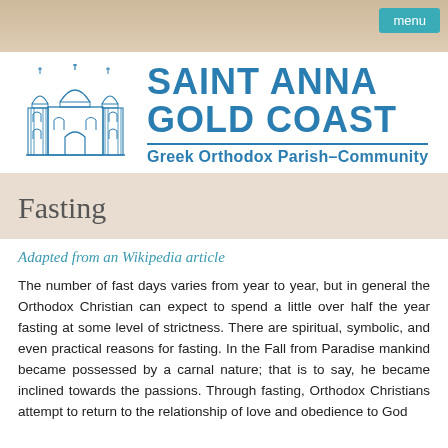menu
[Figure (logo): Saint Anna Gold Coast Greek Orthodox Parish-Community logo with church building illustration and blue text]
Fasting
Adapted from an Wikipedia article
The number of fast days varies from year to year, but in general the Orthodox Christian can expect to spend a little over half the year fasting at some level of strictness. There are spiritual, symbolic, and even practical reasons for fasting. In the Fall from Paradise mankind became possessed by a carnal nature; that is to say, he became inclined towards the passions. Through fasting, Orthodox Christians attempt to return to the relationship of love and obedience to God